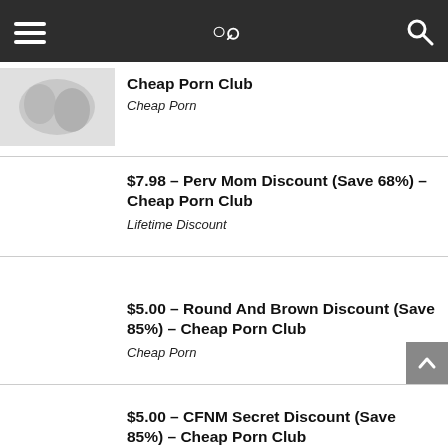Navigation bar with hamburger menu and search icon
Cheap Porn Club
Cheap Porn
$7.98 – Perv Mom Discount (Save 68%) – Cheap Porn Club
Lifetime Discount
$5.00 – Round And Brown Discount (Save 85%) – Cheap Porn Club
Cheap Porn
$5.00 – CFNM Secret Discount (Save 85%) – Cheap Porn Club
Cheap Porn